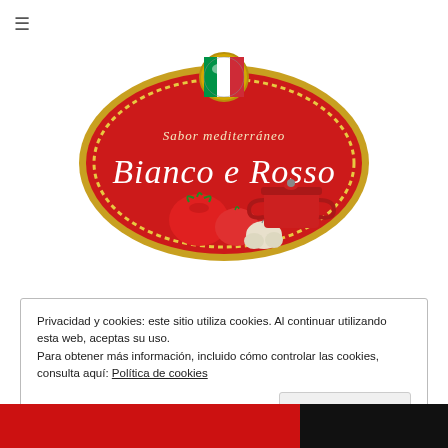[Figure (logo): Bianco e Rosso Italian food brand logo: red oval with gold dotted border, Italian flag badge at top, cursive text 'Sabor mediterráneo' and 'Bianco e Rosso', with tomatoes, garlic, and red pot illustration]
Privacidad y cookies: este sitio utiliza cookies. Al continuar utilizando esta web, aceptas su uso.
Para obtener más información, incluido cómo controlar las cookies, consulta aquí: Política de cookies
Cerrar y aceptar